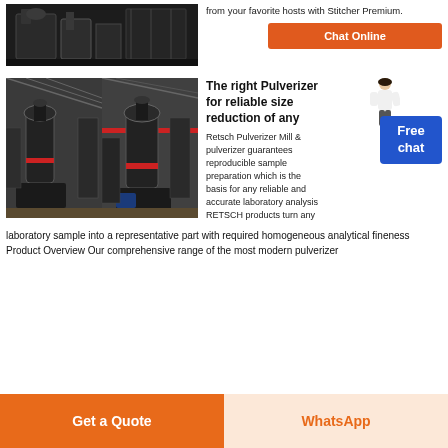[Figure (photo): Industrial machinery equipment photo, dark metal machines in a facility]
Access exclusive podcasts from your favorite hosts with Stitcher Premium.
Chat Online
[Figure (photo): Two photos of pulverizer mill machines in a factory/warehouse setting with red cranes visible]
The right Pulverizer for reliable size reduction of any
Retsch Pulverizer Mill & pulverizer guarantees reproducible sample preparation which is the basis for any reliable and accurate laboratory analysis RETSCH products turn any laboratory sample into a representative part with required homogeneous analytical fineness Product Overview Our comprehensive range of the most modern pulverizer
Get a Quote
WhatsApp